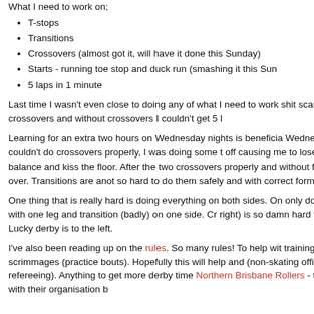What I need to work on;
T-stops
Transitions
Crossovers (almost got it, will have it done this Sunday)
Starts - running toe stop and duck run (smashing it this Sun...
5 laps in 1 minute
Last time I wasn't even close to doing any of what I need to work... shit scared of crossovers and without crossovers I couldn't get 5 l...
Learning for an extra two hours on Wednesday nights is beneficia... Wednesday I couldn't do crossovers properly, I was doing some t... off causing me to lose my balance and kiss the floor. After the two... crossovers properly and without falling over. Transitions are anot... so hard to do them safely and with correct form.
One thing that is really hard is doing everything on both sides. On... only do t-stops with one leg and transition (badly) on one side. Cr... right) is so damn hard too. Lucky derby is to the left.
I've also been reading up on the rules. So many rules! To help wit... training scrimmages (practice bouts). Hopefully this will help and... (non-skating official - refereeing). Anything to get more derby time... Northern Brisbane Rollers - training with their organisation b...